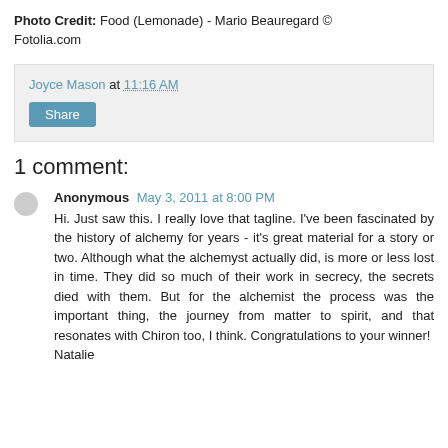Photo Credit:  Food (Lemonade) - Mario Beauregard © Fotolia.com
Joyce Mason at 11:16 AM
Share
1 comment:
Anonymous May 3, 2011 at 8:00 PM
Hi. Just saw this. I really love that tagline. I've been fascinated by the history of alchemy for years - it's great material for a story or two. Although what the alchemyst actually did, is more or less lost in time. They did so much of their work in secrecy, the secrets died with them. But for the alchemist the process was the important thing, the journey from matter to spirit, and that resonates with Chiron too, I think. Congratulations to your winner!
Natalie